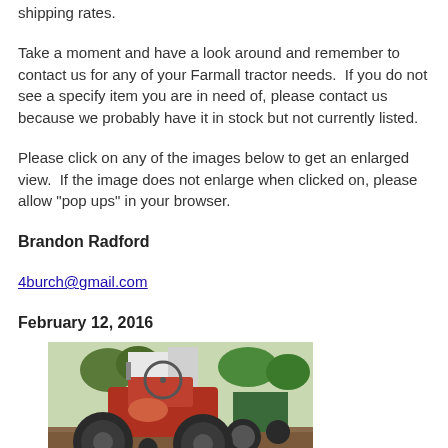shipping rates.
Take a moment and have a look around and remember to contact us for any of your Farmall tractor needs.  If you do not see a specify item you are in need of, please contact us because we probably have it in stock but not currently listed.
Please click on any of the images below to get an enlarged view.  If the image does not enlarge when clicked on, please allow "pop ups" in your browser.
Brandon Radford
4burch@gmail.com
February 12, 2016
[Figure (photo): Photograph of old red Farmall tractor in a yard with other tractors and trees in the background, viewed from the front/top at an angle showing the steering wheel and large rear tires.]